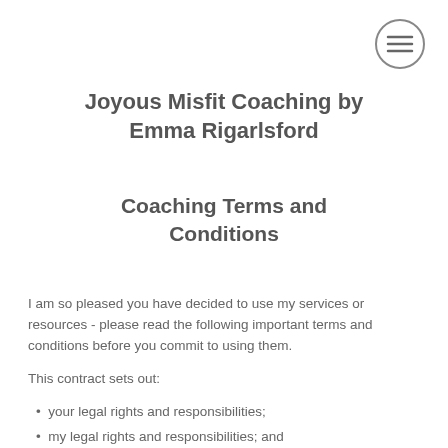[Figure (other): Hamburger menu icon — three horizontal lines inside a circle outline]
Joyous Misfit Coaching by Emma Rigarlsford
Coaching Terms and Conditions
I am so pleased you have decided to use my services or resources - please read the following important terms and conditions before you commit to using them.
This contract sets out:
your legal rights and responsibilities;
my legal rights and responsibilities; and
certain key information required by law.
The intention is that it will bring clarity to our relationship, protect both of us and take care of the business side of things so that we can get on with the